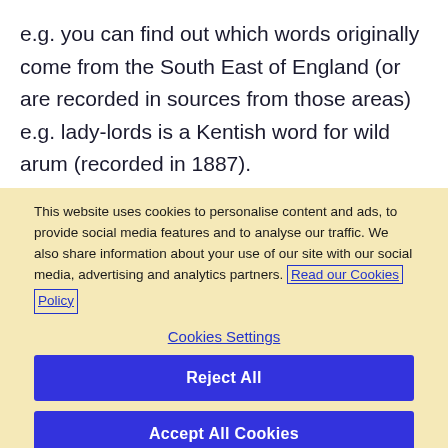e.g. you can find out which words originally come from the South East of England (or are recorded in sources from those areas) e.g. lady-lords is a Kentish word for wild arum (recorded in 1887).
This website uses cookies to personalise content and ads, to provide social media features and to analyse our traffic. We also share information about your use of our site with our social media, advertising and analytics partners. Read our Cookies Policy
Cookies Settings
Reject All
Accept All Cookies